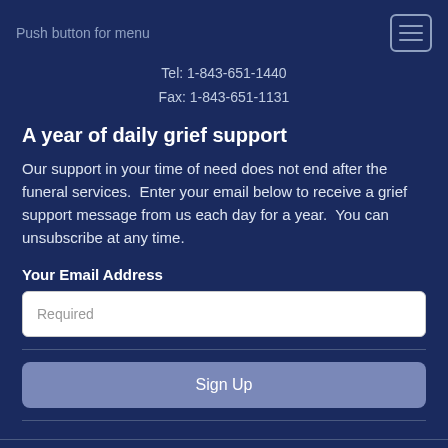Push button for menu
Tel: 1-843-651-1440
Fax: 1-843-651-1131
A year of daily grief support
Our support in your time of need does not end after the funeral services.  Enter your email below to receive a grief support message from us each day for a year.  You can unsubscribe at any time.
Your Email Address
Required
Sign Up